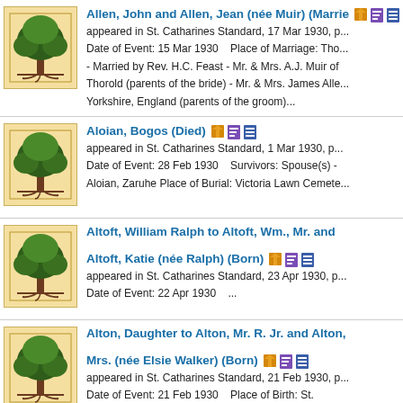Allen, John and Allen, Jean (née Muir) (Married) — appeared in St. Catharines Standard, 17 Mar 1930, p. Date of Event: 15 Mar 1930   Place of Marriage: Th... - Married by Rev. H.C. Feast - Mr. & Mrs. A.J. Muir of Thorold (parents of the bride) - Mr. & Mrs. James Alle... Yorkshire, England (parents of the groom)...
Aloian, Bogos (Died) — appeared in St. Catharines Standard, 1 Mar 1930, p. Date of Event: 28 Feb 1930   Survivors: Spouse(s) - Aloian, Zaruhe Place of Burial: Victoria Lawn Cemete...
Altoft, William Ralph to Altoft, Wm., Mr. and Altoft, Katie (née Ralph) (Born) — appeared in St. Catharines Standard, 23 Apr 1930, p. Date of Event: 22 Apr 1930   ...
Alton, Daughter to Alton, Mr. R. Jr. and Alton, Mrs. (née Elsie Walker) (Born) — appeared in St. Catharines Standard, 21 Feb 1930, p. Date of Event: 21 Feb 1930   Place of Birth: St. Catharines General Hospital